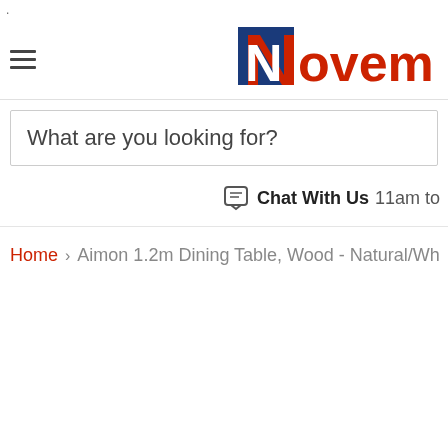.
[Figure (logo): Novem furniture store logo with blue N box and red text]
What are you looking for?
Chat With Us 11am to
Home > Aimon 1.2m Dining Table, Wood - Natural/Wh